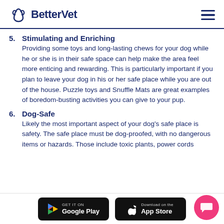BetterVet
5. Stimulating and Enriching
Providing some toys and long-lasting chews for your dog while he or she is in their safe space can help make the area feel more enticing and rewarding. This is particularly important if you plan to leave your dog in his or her safe place while you are out of the house. Puzzle toys and Snuffle Mats are great examples of boredom-busting activities you can give to your pup.
6. Dog-Safe
Likely the most important aspect of your dog’s safe place is safety. The safe place must be dog-proofed, with no dangerous items or hazards. Those include toxic plants, power cords…
GET IT ON Google Play  |  Download on the App Store